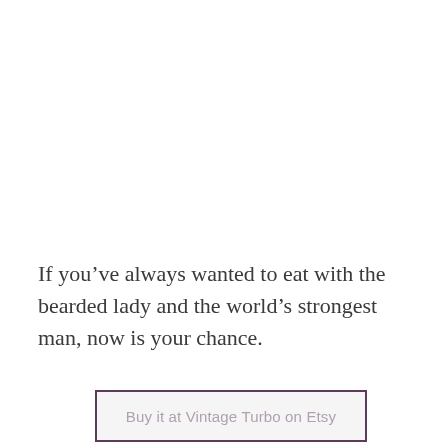If you've always wanted to eat with the bearded lady and the world's strongest man, now is your chance.
Buy it at Vintage Turbo on Etsy